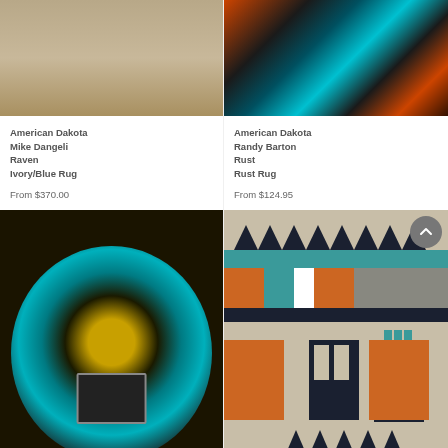[Figure (photo): Top-left partial product image of a rug or textile, cropped at top]
[Figure (photo): Top-right product image with turquoise, black and rust/orange tones, abstract or textile pattern]
American Dakota
Mike Dangeli
Raven
Ivory/Blue Rug
From $370.00
American Dakota
Randy Barton
Rust
Rust Rug
From $124.95
[Figure (photo): Bottom-left circular Kachina decorative art piece with turquoise, gold, black tones]
[Figure (photo): Bottom-right geometric Southwestern rug with triangles, teal, orange, black and white pattern, with scroll-to-top button overlay]